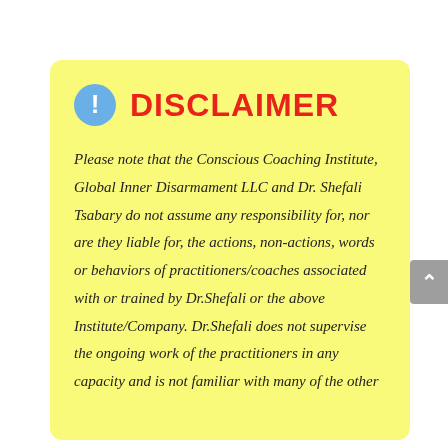DISCLAIMER
Please note that the Conscious Coaching Institute, Global Inner Disarmament LLC and Dr. Shefali Tsabary do not assume any responsibility for, nor are they liable for, the actions, non-actions, words or behaviors of practitioners/coaches associated with or trained by Dr.Shefali or the above Institute/Company. Dr.Shefali does not supervise the ongoing work of the practitioners in any capacity and is not familiar with many of the other